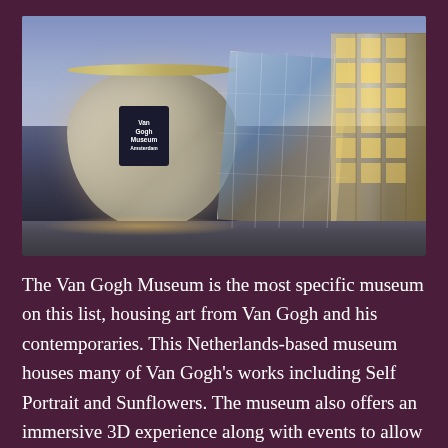[Figure (photo): Exterior photograph of the Van Gogh Museum building at dusk/night. Features a distinctive round cylindrical metallic main building with a gold roof edge and a dark Van Gogh Museum sign, connected to a large angular glass facade structure glowing with warm interior light. A modern multi-story building with lit windows is visible to the right. The foreground shows a paved plaza area.]
The Van Gogh Museum is the most specific museum on this list, housing art from Van Gogh and his contemporaries. This Netherlands-based museum houses many of Van Gogh's works including Self Portrait and Sunflowers. The museum also offers an immersive 3D experience along with events to allow the artist...